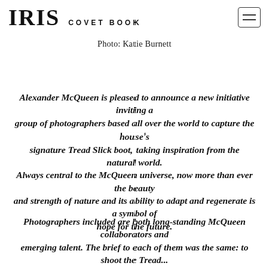IRIS COVET BOOK
Photo: Katie Burnett
Alexander McQueen is pleased to announce a new initiative inviting a group of photographers based all over the world to capture the house's signature Tread Slick boot, taking inspiration from the natural world. Always central to the McQueen universe, now more than ever the beauty and strength of nature and its ability to adapt and regenerate is a symbol of hope for the future.
Photographers included are both long-standing McQueen collaborators and emerging talent. The brief to each of them was the same: to shoot the Tread...